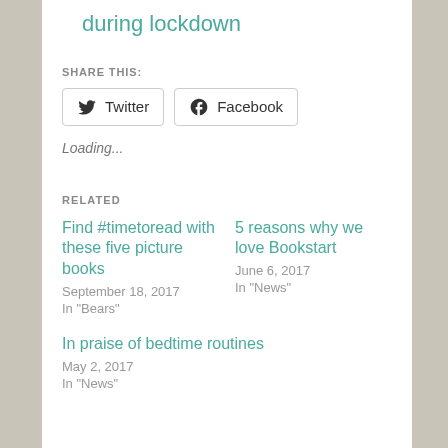during lockdown
SHARE THIS:
Twitter  Facebook
Loading...
RELATED
Find #timetoread with these five picture books
September 18, 2017
In "Bears"
5 reasons why we love Bookstart
June 6, 2017
In "News"
In praise of bedtime routines
May 2, 2017
In "News"